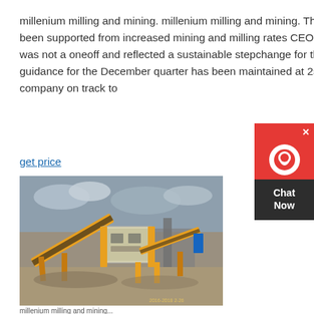millenium milling and mining. millenium milling and mining. The increased head grade has been supported from increased mining and milling rates CEO Peter Cash said the result was not a oneoff and reflected a sustainable stepchange for the operation Production guidance for the December quarter has been maintained at 250000oz which would put the company on track to
get price
[Figure (photo): Photograph of yellow mining/milling equipment including conveyor belts and crushers at an open-pit mining site, taken outdoors under a cloudy sky. Timestamp visible in lower right corner: 2016-2018 2-26]
millenium milling and mining